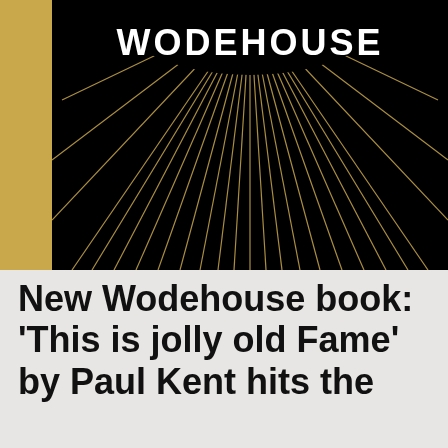[Figure (illustration): Book cover with black background, gold left stripe, radiating gold lines from a semicircle, and 'WODEHOUSE' text in white at top center]
New Wodehouse book: 'This is jolly old Fame' by Paul Kent hits the